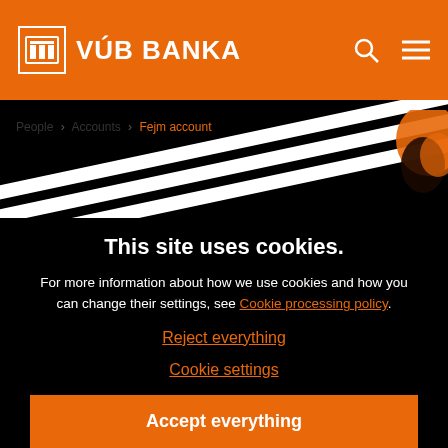VÚB BANKA
People > Accounts > Fejm account
This site uses cookies.
For more information about how we use cookies and how you can change their settings, see Cookie processing policy.
Reject everything
Cookie settings
Accept everything